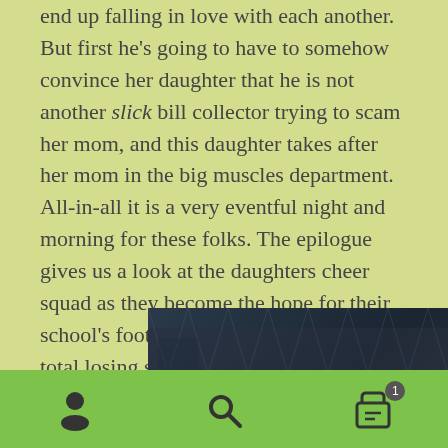end up falling in love with each another. But first he's going to have to somehow convince her daughter that he is not another slick bill collector trying to scam her mom, and this daughter takes after her mom in the big muscles department. All-in-all it is a very eventful night and morning for these folks. The epilogue gives us a look at the daughters cheer squad as they become the hope for their school's football team not suffering a total losing season, by taking to the field themselves! 66 pgs.
You may also like…
[Figure (photo): Promotional image with red bold text reading 'RIDES AGAIN! pt 2' on a dark background showing figures near a chain-link fence]